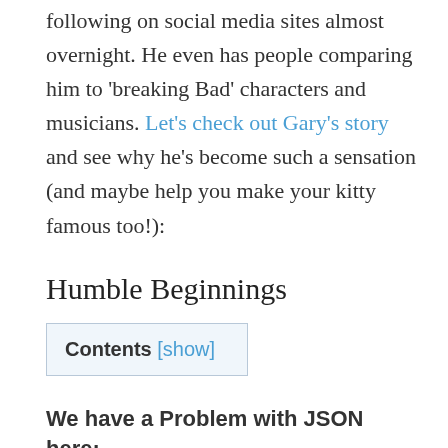following on social media sites almost overnight. He even has people comparing him to 'breaking Bad' characters and musicians. Let's check out Gary's story and see why he's become such a sensation (and maybe help you make your kitty famous too!):
Humble Beginnings
Contents [show]
We have a Problem with JSON here: Either we got no JSON from the API. Or the basenode-parameter is not ok. Switch on the Debugmode of the Plugin! Switch to gutenberg-Blocks!